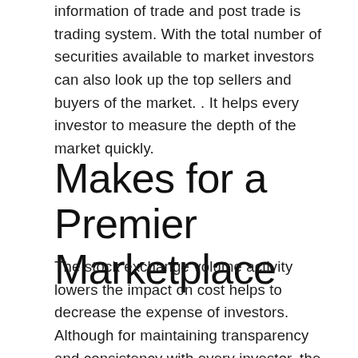information of trade and post trade is trading system. With the total number of securities available to market investors can also look up the top sellers and buyers of the market. . It helps every investor to measure the depth of the market quickly.
Makes for a Premier Marketplace
The stock exchange volume activity lowers the impact on cost helps to decrease the expense of investors. Although for maintaining transparency and consistency with every investor, the automated trading system of the stock exchange